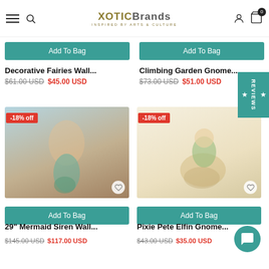XoticBrands - Inspired by Arts & Culture
Add To Bag
Add To Bag
Decorative Fairies Wall...
$61.00 USD  $45.00 USD
Climbing Garden Gnome...
$73.00 USD  $51.00 USD
[Figure (photo): 29 inch Mermaid Siren Wall sculpture with -18% off badge]
[Figure (photo): Pixie Pete Elfin Gnome figurine on snail with -18% off badge]
Add To Bag
Add To Bag
29" Mermaid Siren Wall...
Pixie Pete Elfin Gnome...
$145.00 USD  $117.00 USD
$43.00 USD  $35.00 USD